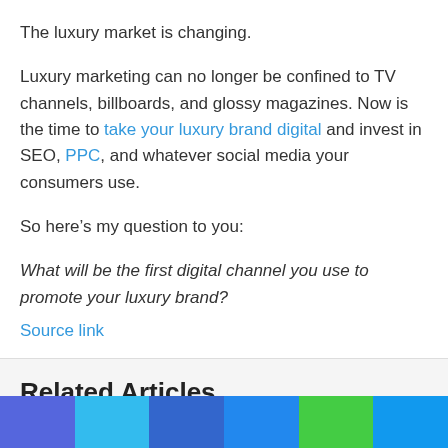The luxury market is changing.
Luxury marketing can no longer be confined to TV channels, billboards, and glossy magazines. Now is the time to take your luxury brand digital and invest in SEO, PPC, and whatever social media your consumers use.
So here’s my question to you:
What will be the first digital channel you use to promote your luxury brand?
Source link
Related Articles